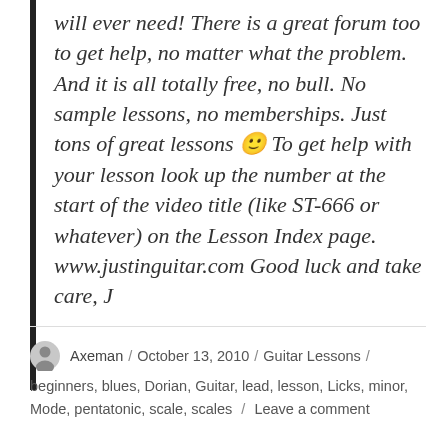will ever need! There is a great forum too to get help, no matter what the problem. And it is all totally free, no bull. No sample lessons, no memberships. Just tons of great lessons 🙂 To get help with your lesson look up the number at the start of the video title (like ST-666 or whatever) on the Lesson Index page. www.justinguitar.com Good luck and take care, J
Axeman / October 13, 2010 / Guitar Lessons / beginners, blues, Dorian, Guitar, lead, lesson, Licks, minor, Mode, pentatonic, scale, scales / Leave a comment